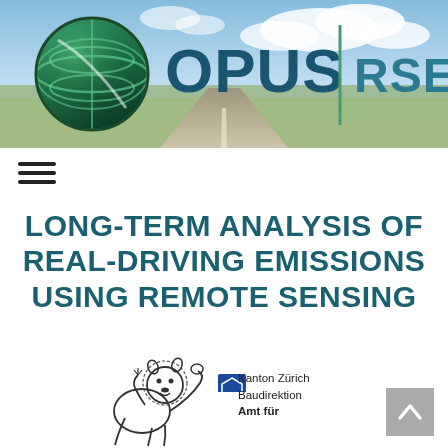[Figure (logo): OPUS RSE logo with globe icon on road/sky background banner]
[Figure (other): Hamburger navigation menu icon (three horizontal lines)]
LONG-TERM ANALYSIS OF REAL-DRIVING EMISSIONS USING REMOTE SENSING
[Figure (illustration): Kanton Zürich lion heraldic crest illustration with Kanton Zürich Baudirektion Amt für text and logo badge]